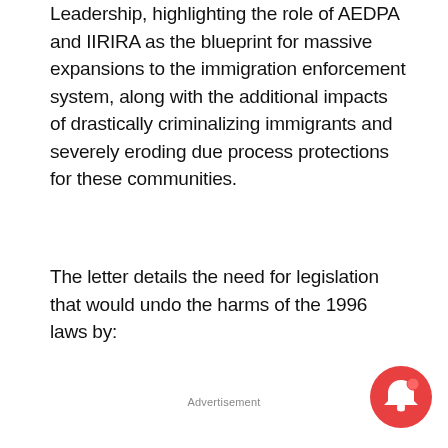Leadership, highlighting the role of AEDPA and IIRIRA as the blueprint for massive expansions to the immigration enforcement system, along with the additional impacts of drastically criminalizing immigrants and severely eroding due process protections for these communities.
The letter details the need for legislation that would undo the harms of the 1996 laws by:
Advertisement